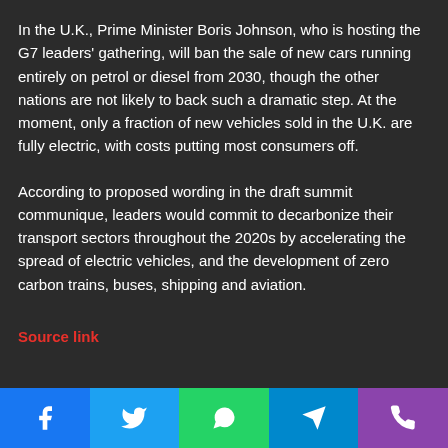In the U.K., Prime Minister Boris Johnson, who is hosting the G7 leaders' gathering, will ban the sale of new cars running entirely on petrol or diesel from 2030, though the other nations are not likely to back such a dramatic step. At the moment, only a fraction of new vehicles sold in the U.K. are fully electric, with costs putting most consumers off.
According to proposed wording in the draft summit communique, leaders would commit to decarbonize their transport sectors throughout the 2020s by accelerating the spread of electric vehicles, and the development of zero carbon trains, buses, shipping and aviation.
Source link